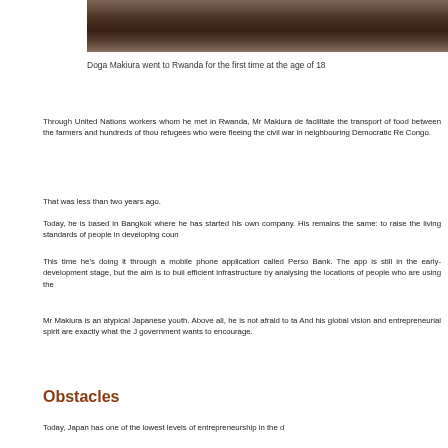[Figure (photo): Dark photo showing a person, cropped at the top of the page]
Doga Makiura went to Rwanda for the first time at the age of 18
Through United Nations workers whom he met in Rwanda, Mr Makiura de... facilitate the transport of food between the farmers and hundreds of thou... refugees who were fleeing the civil war in neighbouring Democratic Re... Congo.
That was less than two years ago.
Today, he is based in Bangkok where he has started his own company. His remains the same: to raise the living standards of people in developing coun...
This time he's doing it through a mobile phone application called Perso... Bank. The app is still in the early-development stage, but the aim is to buil... efficient infrastructure by analysing the locations of people who are using the...
Mr Makiura is an atypical Japanese youth. Above all, he is not afraid to ta... And his global vision and entrepreneurial spirit are exactly what the J... government wants to encourage.
Obstacles
Today, Japan has one of the lowest levels of entrepreneurship in the d...